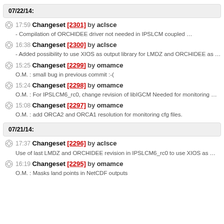07/22/14:
17:59 Changeset [2301] by aclsce - Compilation of ORCHIDEE driver not needed in IPSLCM coupled …
16:38 Changeset [2300] by aclsce - Added possibility to use XIOS as output library for LMDZ and ORCHIDEE as …
15:25 Changeset [2299] by omamce O.M. : small bug in previous commit :-(
15:24 Changeset [2298] by omamce O.M. : For IPSLCM6_rc0, change revision of libIGCM Needed for monitoring …
15:08 Changeset [2297] by omamce O.M. : add ORCA2 and ORCA1 resolution for monitoring cfg files.
07/21/14:
17:37 Changeset [2296] by aclsce Use of last LMDZ and ORCHIDEE revision in IPSLCM6_rc0 to use XIOS as …
16:19 Changeset [2295] by omamce O.M. : Masks land points in NetCDF outputs